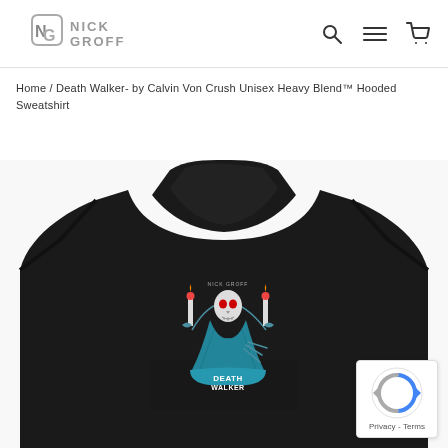Nick Groff - Navigation with search, menu, and cart icons
Home / Death Walker- by Calvin Von Crush Unisex Heavy Blend™ Hooded Sweatshirt
[Figure (photo): Black hoodie sweatshirt displaying a 'Death Walker' graphic by Calvin Von Crush on the chest. The graphic features a grim reaper skeleton figure in teal/blue tones with red-tipped candles and a banner reading 'Death Walker'. The hoodie is photographed on a model or display.]
[Figure (other): Google reCAPTCHA badge in bottom right corner showing the reCAPTCHA logo and 'Privacy - Terms' text.]